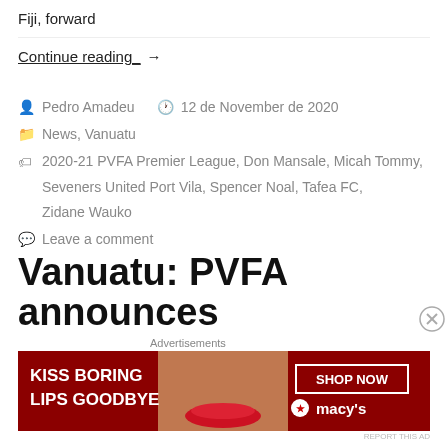Fiji, forward
Continue reading_ →
Pedro Amadeu   12 de November de 2020
News, Vanuatu
2020-21 PVFA Premier League, Don Mansale, Micah Tommy, Seveners United Port Vila, Spencer Noal, Tafea FC, Zidane Wauko
Leave a comment
Vanuatu: PVFA announces
Advertisements
[Figure (other): Macy's advertisement banner: KISS BORING LIPS GOODBYE with SHOP NOW button and macys logo, featuring a woman's face with red lips]